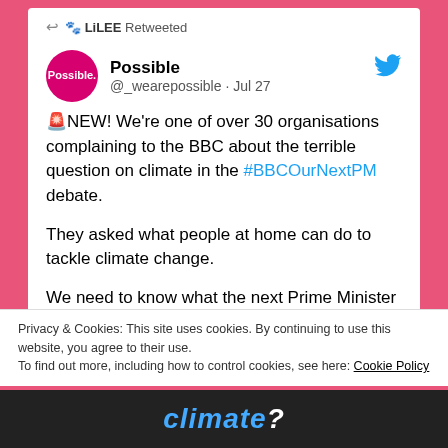↩ 🐾 Li𝗻𝗱𝗮𝗢𝗻LEE Retweeted
[Figure (screenshot): Twitter/X profile avatar for Possible organisation - pink circle with white text 'Possible.']
Possible @_wearepossible · Jul 27
🚨NEW! We're one of over 30 organisations complaining to the BBC about the terrible question on climate in the #BBCOurNextPM debate.

They asked what people at home can do to tackle climate change.

We need to know what the next Prime Minister will do. bit.ly/3OI7Dax
Privacy & Cookies: This site uses cookies. By continuing to use this website, you agree to their use.
To find out more, including how to control cookies, see here: Cookie Policy
Close and accept
[Figure (photo): Bottom image showing partial text 'climate?' on dark background]